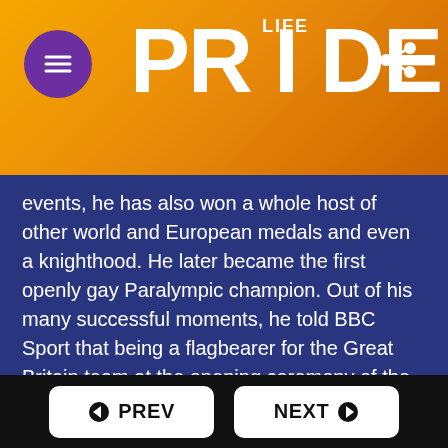[Figure (logo): PRIDE LIFE magazine logo in white bold text on orange gradient background, with hamburger menu icon in purple circle on left and share icon on right]
events, he has also won a whole host of other world and European medals and even a knighthood. He later became the first openly gay Paralympic champion. Out of his many successful moments, he told BBC Sport that being a flagbearer for the Great Britain team at the opening ceremony of the Rio Games in 2016 as one of his proudest. “It wasn’t about me, it was the message we sent out to other countries… I hope it sent a message out to other nations where diverse sexuality is oppressed and still not accepted and where
PREV | NEXT